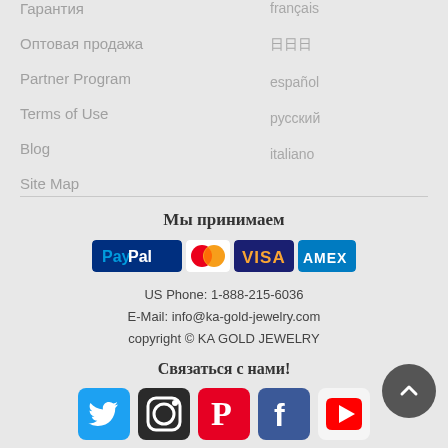Гарантия
Оптовая продажа
Partner Program
Terms of Use
Blog
Site Map
français
日本語
español
русский
italiano
Мы принимаем
[Figure (logo): Payment method logos: PayPal, MasterCard, VISA, AMEX]
US Phone: 1-888-215-6036
E-Mail: info@ka-gold-jewelry.com
copyright © KA GOLD JEWELRY
Связаться с нами!
[Figure (logo): Social media icons: Twitter, Instagram, Pinterest, Facebook, YouTube]